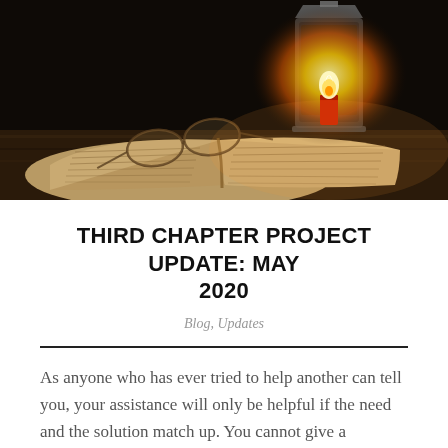[Figure (photo): A dark atmospheric photo of an open antique book with reading glasses resting on its pages, and a lit candle lantern glowing in the background against a black backdrop, on a wooden surface.]
THIRD CHAPTER PROJECT UPDATE: MAY 2020
Blog, Updates
As anyone who has ever tried to help another can tell you, your assistance will only be helpful if the need and the solution match up. You cannot give a